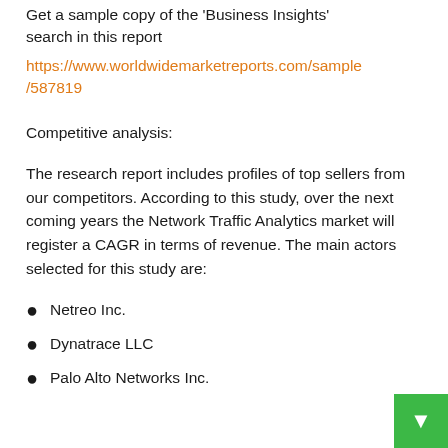Get a sample copy of the 'Business Insights' search in this report
https://www.worldwidemarketreports.com/sample/587819
Competitive analysis:
The research report includes profiles of top sellers from our competitors. According to this study, over the next coming years the Network Traffic Analytics market will register a CAGR in terms of revenue. The main actors selected for this study are:
Netreo Inc.
Dynatrace LLC
Palo Alto Networks Inc.